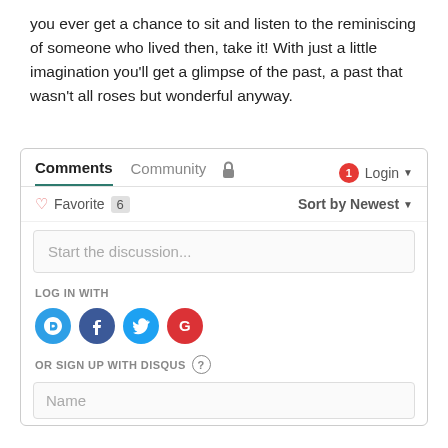you ever get a chance to sit and listen to the reminiscing of someone who lived then, take it! With just a little imagination you'll get a glimpse of the past, a past that wasn't all roses but wonderful anyway.
[Figure (screenshot): Disqus comments widget showing tabs for Comments and Community, a lock icon, notification badge (1), Login button, Favorite (6), Sort by Newest dropdown, a 'Start the discussion...' input box, LOG IN WITH section with Disqus, Facebook, Twitter, Google icons, OR SIGN UP WITH DISQUS section, and a Name input field.]